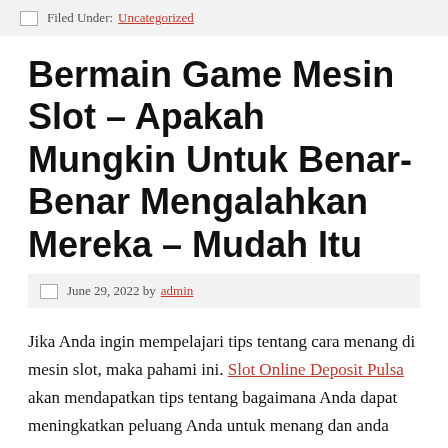Filed Under: Uncategorized
Bermain Game Mesin Slot – Apakah Mungkin Untuk Benar-Benar Mengalahkan Mereka – Mudah Itu
June 29, 2022 by admin
Jika Anda ingin mempelajari tips tentang cara menang di mesin slot, maka pahami ini. Slot Online Deposit Pulsa akan mendapatkan tips tentang bagaimana Anda dapat meningkatkan peluang Anda untuk menang dan anda juga akan belajar tentang beberapa tips mesin slot.